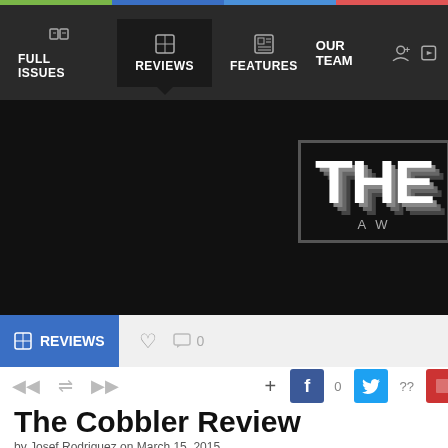FULL ISSUES | REVIEWS | FEATURES | OUR TEAM
[Figure (screenshot): Hero banner with large bold text 'THE' and 'AW' partially visible on dark background]
REVIEWS
The Cobbler Review
by Josef Rodriguez on March 15, 2015